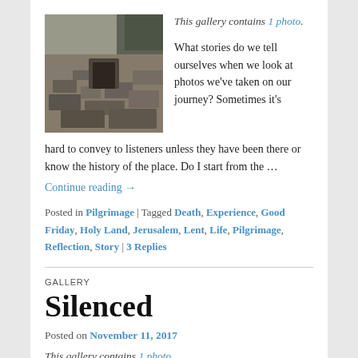[Figure (photo): Black and white photograph of an archaeological or historic site with stone ruins and rubble]
This gallery contains 1 photo.
What stories do we tell ourselves when we look at photos we've taken on our journey? Sometimes it's hard to convey to listeners unless they have been there or know the history of the place. Do I start from the …
Continue reading →
Posted in Pilgrimage | Tagged Death, Experience, Good Friday, Holy Land, Jerusalem, Lent, Life, Pilgrimage, Reflection, Story | 3 Replies
GALLERY
Silenced
Posted on November 11, 2017
This gallery contains 1 photo.